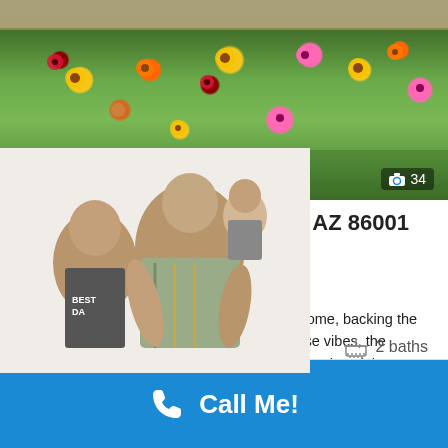[Figure (photo): Garden photo showing colorful wildflowers including yellow, orange, and pink blooms with green foliage, photo counter badge showing camera icon and '34' in lower right]
3169 Cooper Drive Flagstaff AZ 86001
$ 575,000
Welcome to this lovely remodeled Cheshire home, backing the Rio De Flag! Upgraded with modern farmhouse vibes, the kitchen has a beautiful butcher block island, stainless steel appliances, huge sink, granite counters, custom soft-close and open shelving. The living room opens nicely to the...
[Figure (photo): Photo of a man and two children overlapping the listing description text]
2 baths
Call Me!